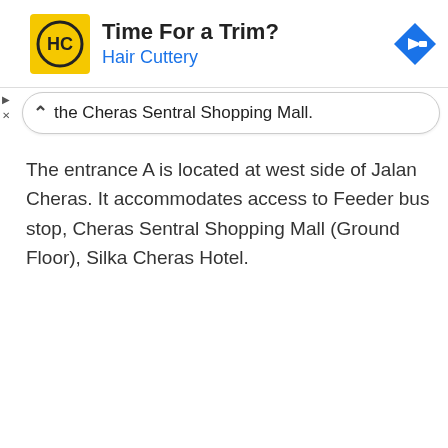[Figure (infographic): Hair Cuttery advertisement banner with yellow square logo featuring HC in a circle, tagline 'Time For a Trim?' and blue navigation arrow icon]
the Cheras Sentral Shopping Mall.
The entrance A is located at west side of Jalan Cheras. It accommodates access to Feeder bus stop, Cheras Sentral Shopping Mall (Ground Floor), Silka Cheras Hotel.